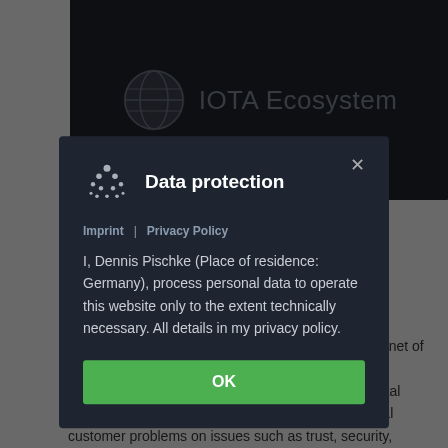[Figure (screenshot): Dark banner with globe icon and 'IOTA Ecosystem' text]
Th... by So...
B...
Bi... n. Bi... st... ledger technology to address challenges in the Internet of Everything era, including smart cities and energy management. Its core technologies support the digital transformation of various industries and solve critical customer problems on issues such as trust, security,
[Figure (screenshot): Data protection modal dialog with IOTA logo, Imprint and Privacy Policy links, privacy notice text, and OK button]
Imprint | Privacy Policy
I, Dennis Pischke (Place of residence: Germany), process personal data to operate this website only to the extent technically necessary. All details in my privacy policy.